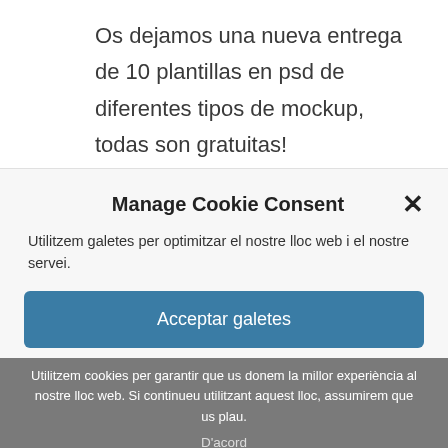Os dejamos una nueva entrega de 10 plantillas en psd de diferentes tipos de mockup, todas son gratuitas! Encontraréis Mockup de identidad
Manage Cookie Consent
Utilitzem galetes per optimitzar el nostre lloc web i el nostre servei.
Acceptar galetes
Utilitzem cookies per garantir que us donem la millor experiència al nostre lloc web. Si continueu utilitzant aquest lloc, assumirem que us plau.
D'acord